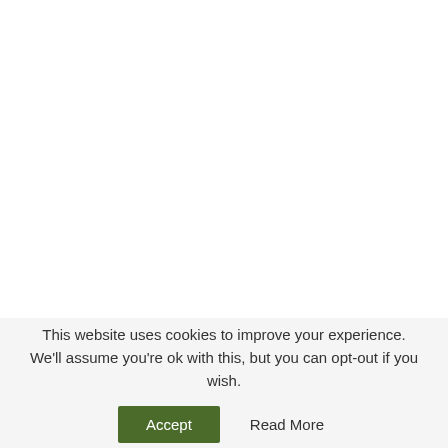Leave a Reply
[Figure (other): Colorful advertisement banner with red background, cartoon characters, and 'Bit!' text with close/help controls]
This website uses cookies to improve your experience. We'll assume you're ok with this, but you can opt-out if you wish.
Accept   Read More